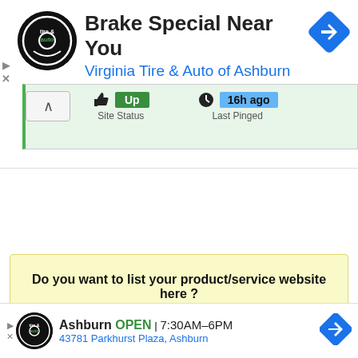[Figure (screenshot): Ad banner: circular logo for tire & auto service, heading 'Brake Special Near You', subheading 'Virginia Tire & Auto of Ashburn ...', blue diamond navigation icon top right, small play/close icons on left.]
[Figure (infographic): Status panel showing thumbs up icon with green 'Up' badge and 'Site Status' label, clock icon with blue '16h ago' badge and 'Last Pinged' label. Chevron up on left.]
Do you want to list your product/service website here ? CLICK HERE
[Figure (screenshot): Bottom ad banner: Virginia Tire & Auto logo, 'Ashburn OPEN 7:30AM-6PM', '43781 Parkhurst Plaza, Ashburn', blue diamond nav icon.]